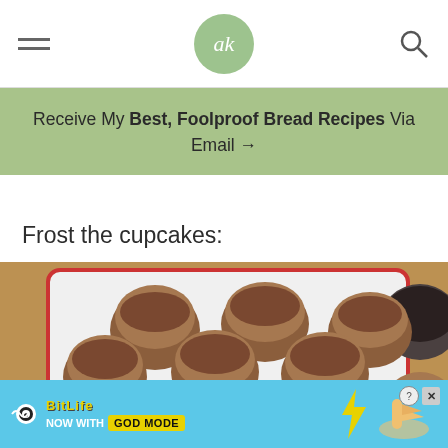ak (logo) — navigation header with hamburger menu and search icon
Receive My Best, Foolproof Bread Recipes Via Email →
Frost the cupcakes:
[Figure (photo): Overhead view of chocolate frosted cupcakes arranged on a white rectangular baking tray with red trim, on a wooden surface, with a dark bowl partially visible in the top right corner.]
[Figure (screenshot): Advertisement banner for BitLife game: 'NOW WITH GOD MODE' on a light blue background with illustrated hand pointing and BitLife logo.]